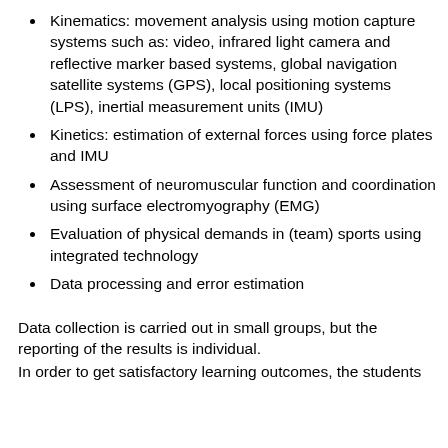Kinematics: movement analysis using motion capture systems such as: video, infrared light camera and reflective marker based systems, global navigation satellite systems (GPS), local positioning systems (LPS), inertial measurement units (IMU)
Kinetics: estimation of external forces using force plates and IMU
Assessment of neuromuscular function and coordination using surface electromyography (EMG)
Evaluation of physical demands in (team) sports using integrated technology
Data processing and error estimation
Data collection is carried out in small groups, but the reporting of the results is individual.
In order to get satisfactory learning outcomes, the students